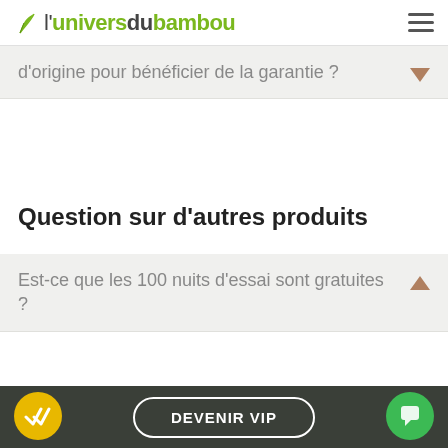l'univers du bambou
d'origine pour bénéficier de la garantie ?
Question sur d'autres produits
Est-ce que les 100 nuits d'essai sont gratuites ?
DEVENIR VIP